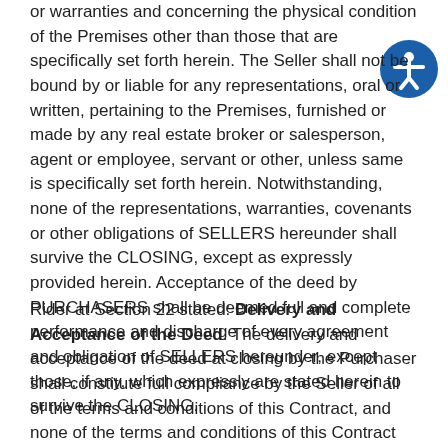or warranties and concerning the physical condition of the Premises other than those that are specifically set forth herein. The Seller shall not be bound by or liable for any representations, oral or written, pertaining to the Premises, furnished or made by any real estate broker or salesperson, agent or employee, servant or other, unless same is specifically set forth herein. Notwithstanding, none of the representations, warranties, covenants or other obligations of SELLERS hereunder shall survive the CLOSING, except as expressly provided herein. Acceptance of the deed by PURCHASERS shall be deemed full and complete performance and discharge of every agreement and obligation of SELLERS hereunder, except those, if any, which expressly are stated herein to survive the CLOSING.
Rider at Section 22 stated: Delivery and Acceptance of the Deed. The delivery and acceptance of the deed at closing by the Purchaser shall constitute full compliance by the Seller of all of the terms and conditions of this Contract, and none of the terms and conditions of this Contract shall survive the delivery of the deed unless specifically stated otherwise.